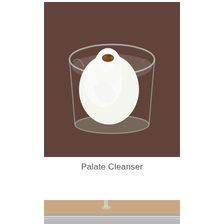[Figure (photo): A small clear glass cup viewed from above on a brown surface, containing a white cream or mousse swirled into a mound shape, topped with a small garnish of brown crumbles or seeds.]
Palate Cleanser
[Figure (photo): Partial view of a food plate or dish on a light beige surface, showing the bottom edge of a round metallic or silver-rimmed plate and what appears to be a glass stem, partially cropped.]